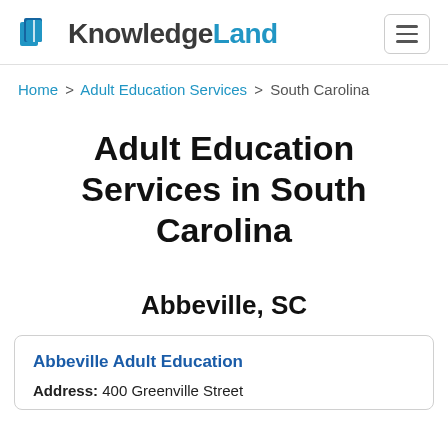KnowledgeLand
Home > Adult Education Services > South Carolina
Adult Education Services in South Carolina
Abbeville, SC
Abbeville Adult Education
Address: 400 Greenville Street